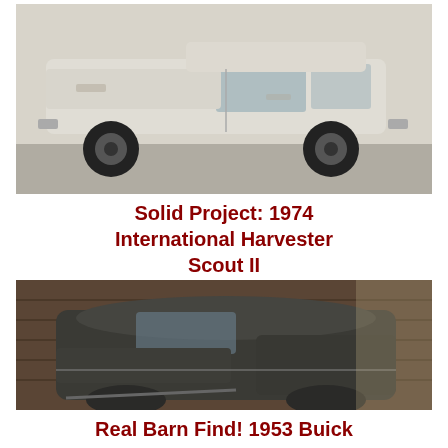[Figure (photo): Side view of a white 1974 International Harvester Scout II SUV parked on pavement, showing rust and wear, black wheels, against a light background.]
Solid Project: 1974 International Harvester Scout II
[Figure (photo): Interior of a barn or garage showing a dark-colored 1953 Buick Super stored inside, roof and hood visible, wooden walls in background.]
Real Barn Find! 1953 Buick Super